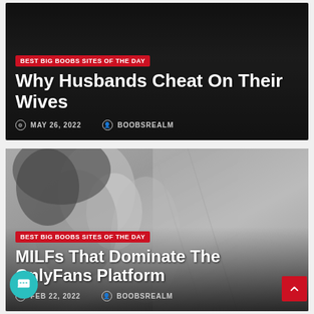[Figure (photo): Dark gradient card background for first article]
BEST BIG BOOBS SITES OF THE DAY
Why Husbands Cheat On Their Wives
MAY 26, 2022   BOOBSREALM
[Figure (photo): Black and white photo of a woman in lingerie, second article card]
BEST BIG BOOBS SITES OF THE DAY
MILFs That Dominate The OnlyFans Platform
FEB 22, 2022   BOOBSREALM